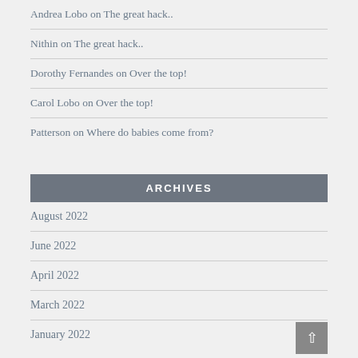Andrea Lobo on The great hack..
Nithin on The great hack..
Dorothy Fernandes on Over the top!
Carol Lobo on Over the top!
Patterson on Where do babies come from?
ARCHIVES
August 2022
June 2022
April 2022
March 2022
January 2022